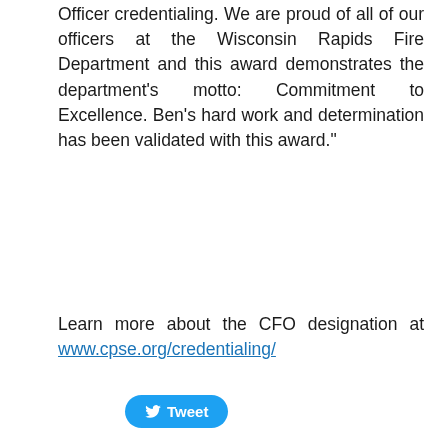Officer credentialing. We are proud of all of our officers at the Wisconsin Rapids Fire Department and this award demonstrates the department's motto: Commitment to Excellence. Ben's hard work and determination has been validated with this award."
Learn more about the CFO designation at www.cpse.org/credentialing/
[Figure (other): Twitter Tweet button widget (blue rounded button with Twitter bird icon and 'Tweet' text)]
ARCHIVES
July 2022
June 2022
May 2022
April 2022
March 2022